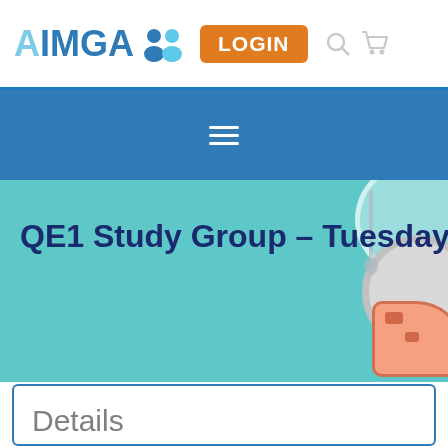AIMGA LOGIN
[Figure (screenshot): Website navigation bar with AIMGA logo, LOGIN button, search icon, and cart icon]
QE1 Study Group – Tuesday
Details